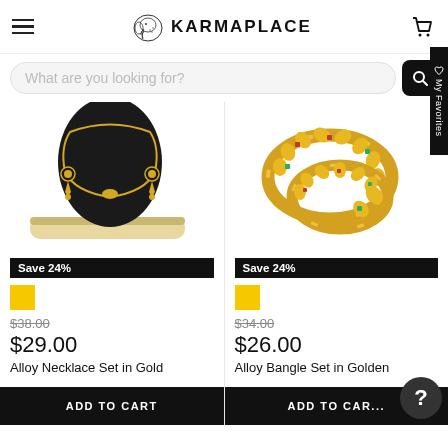KARMAPLACE
What are you looking for?
[Figure (photo): Alloy necklace set with earrings on a black velvet stand with gold base]
Save 24%
$38.00
$29.00
Alloy Necklace Set in Gold
ADD TO CART
[Figure (photo): Gold alloy bangle set with red and green stones]
Save 24%
$34.00
$26.00
Alloy Bangle Set in Golden
ADD TO CART